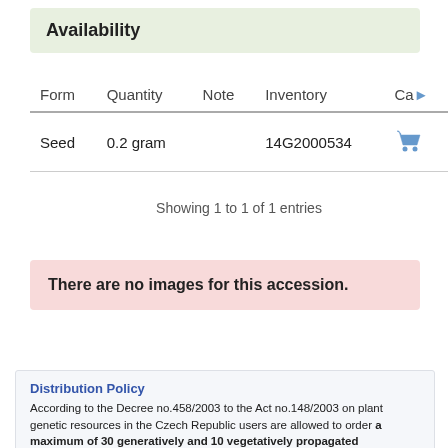Availability
| Form | Quantity | Note | Inventory | Cart |
| --- | --- | --- | --- | --- |
| Seed | 0.2 gram |  | 14G2000534 |  |
Showing 1 to 1 of 1 entries
There are no images for this accession.
Distribution Policy
According to the Decree no.458/2003 to the Act no.148/2003 on plant genetic resources in the Czech Republic users are allowed to order a maximum of 30 generatively and 10 vegetatively propagated